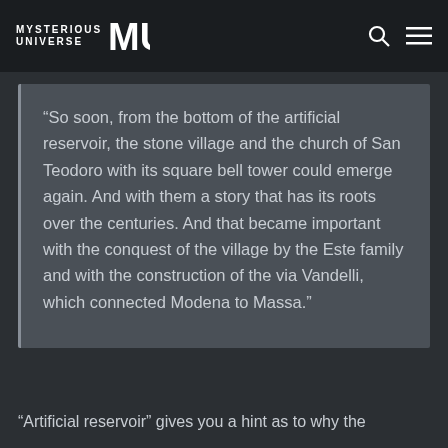MYSTERIOUS UNIVERSE MU
“So soon, from the bottom of the artificial reservoir, the stone village and the church of San Teodoro with its square bell tower could emerge again. And with them a story that has its roots over the centuries. And that became important with the conquest of the village by the Este family and with the construction of the via Vandelli, which connected Modena to Massa.”
“Artificial reservoir” gives you a hint as to why the